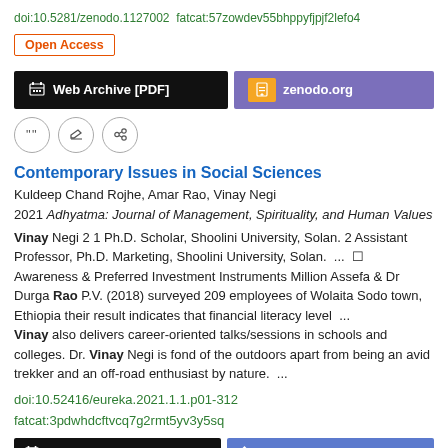doi:10.5281/zenodo.1127002  fatcat:57zowdev55bhppyfjpjf2lefo4
Open Access
Web Archive [PDF]    zenodo.org
Contemporary Issues in Social Sciences
Kuldeep Chand Rojhe, Amar Rao, Vinay Negi
2021 Adhyatma: Journal of Management, Spirituality, and Human Values
Vinay Negi 2 1 Ph.D. Scholar, Shoolini University, Solan. 2 Assistant Professor, Ph.D. Marketing, Shoolini University, Solan.  ...  Awareness & Preferred Investment Instruments Million Assefa & Dr Durga Rao P.V. (2018) surveyed 209 employees of Wolaita Sodo town, Ethiopia their result indicates that financial literacy level  ...  Vinay also delivers career-oriented talks/sessions in schools and colleges. Dr. Vinay Negi is fond of the outdoors apart from being an avid trekker and an off-road enthusiast by nature.  ...
doi:10.52416/eureka.2021.1.1.p01-312
fatcat:3pdwhdcftvcq7g2rmt5yv3y5sq
Web Archive [PDF]    Publisher / doi.org